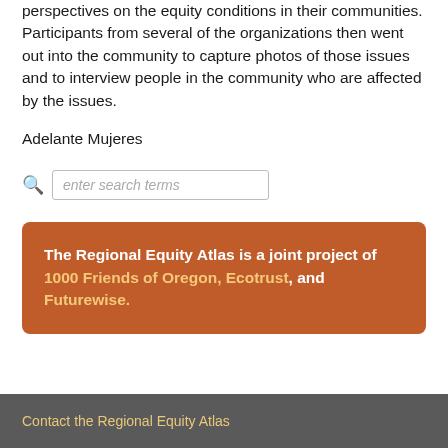perspectives on the equity conditions in their communities. Participants from several of the organizations then went out into the community to capture photos of those issues and to interview people in the community who are affected by the issues.
Adelante Mujeres
enter search terms
The Regional Equity Atlas is a joint project of 1000 Friends of Oregon, Ecotrust, and Futurewise.
Contact the Regional Equity Atlas